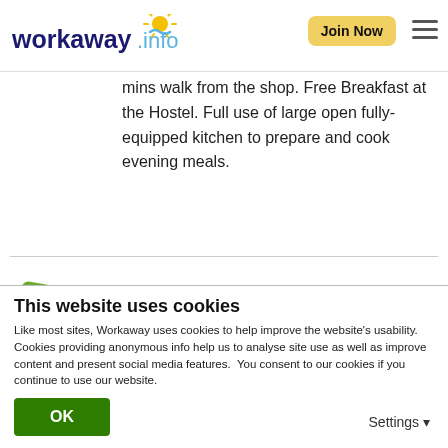workaway.info — Join Now
mins walk from the shop. Free Breakfast at the Hostel. Full use of large open fully-equipped kitchen to prepare and cook evening meals.
What else …
Tulum is full of things to do. We are close to many cenotes where you can snorkel or dive. You can visit the famous Tulum Ruins and the stunning beaches, as well as visit the famous pyramids of Coba and Chichen
This website uses cookies
Like most sites, Workaway uses cookies to help improve the website's usability. Cookies providing anonymous info help us to analyse site use as well as improve content and present social media features. You consent to our cookies if you continue to use our website.
OK   Settings